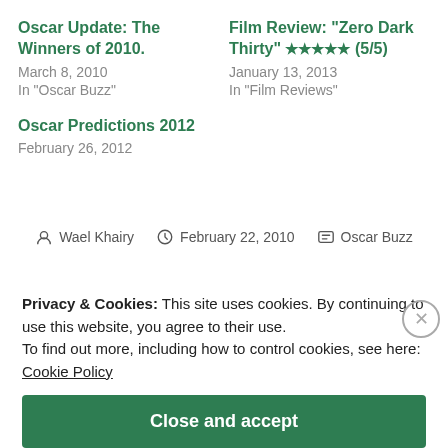Oscar Update: The Winners of 2010.
March 8, 2010
In "Oscar Buzz"
Film Review: "Zero Dark Thirty" ★★★★★ (5/5)
January 13, 2013
In "Film Reviews"
Oscar Predictions 2012
February 26, 2012
Wael Khairy  February 22, 2010  Oscar Buzz
Privacy & Cookies: This site uses cookies. By continuing to use this website, you agree to their use.
To find out more, including how to control cookies, see here:
Cookie Policy
Close and accept
Previous Post
Cairo Station "Bab el Hadid" (1958)